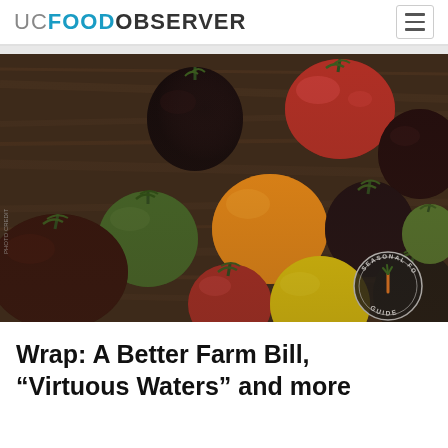UC FOOD OBSERVER
[Figure (photo): Overhead view of various colorful heirloom tomatoes arranged on a dark wooden surface, including dark purple, red, orange, yellow, and green varieties. A circular 'Seasonal Food Guide' badge is visible in the lower right corner.]
Wrap: A Better Farm Bill, “Virtuous Waters” and more